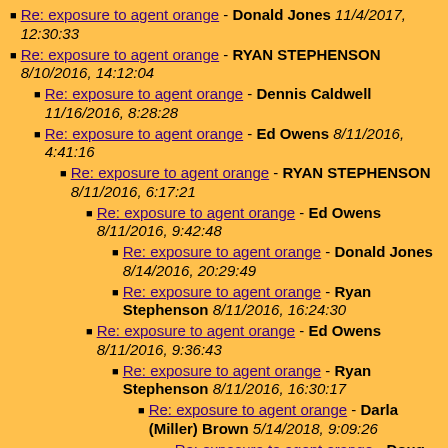Re: exposure to agent orange - Donald Jones 11/4/2017, 12:30:33
Re: exposure to agent orange - RYAN STEPHENSON 8/10/2016, 14:12:04
Re: exposure to agent orange - Dennis Caldwell 11/16/2016, 8:28:28
Re: exposure to agent orange - Ed Owens 8/11/2016, 4:41:16
Re: exposure to agent orange - RYAN STEPHENSON 8/11/2016, 6:17:21
Re: exposure to agent orange - Ed Owens 8/11/2016, 9:42:48
Re: exposure to agent orange - Donald Jones 8/14/2016, 20:29:49
Re: exposure to agent orange - Ryan Stephenson 8/11/2016, 16:24:30
Re: exposure to agent orange - Ed Owens 8/11/2016, 9:36:43
Re: exposure to agent orange - Ryan Stephenson 8/11/2016, 16:30:17
Re: exposure to agent orange - Darla (Miller) Brown 5/14/2018, 9:09:26
Re: exposure to agent orange - Doug Whitfield 1/26/2019, 6:57:43
Re: exposure to agent orange - RYAN